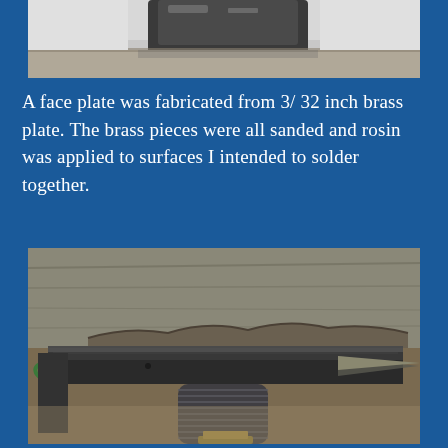[Figure (photo): Partial view of a tool or object on a workbench, cropped at the top of the page.]
A face plate was fabricated from 3/ 32 inch brass plate. The brass pieces were all sanded and rosin was applied to surfaces I intended to solder together.
[Figure (photo): Close-up photo of a metal workpiece clamped in a vise, showing threaded bolt and metal bar, on a workbench.]